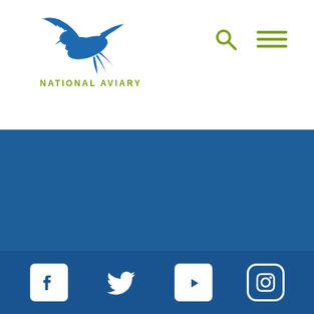[Figure (logo): National Aviary logo — blue bird silhouette in flight, with text 'National Aviary' in olive green below]
[Figure (infographic): Navigation icons: search magnifying glass and hamburger menu in olive green]
[Figure (infographic): Blue background section occupying the middle and lower portion of the page]
[Figure (infographic): Social media icon bar at bottom with Facebook, Twitter, YouTube, and Instagram icons in white on blue background]